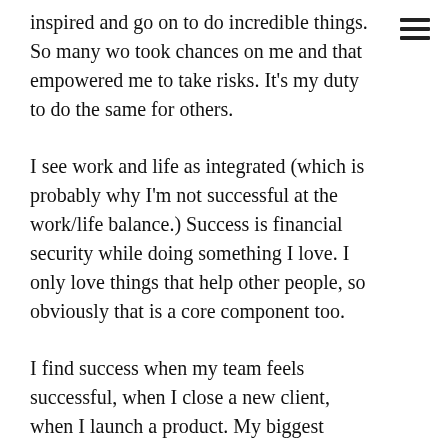inspired and go on to do incredible things. So many wo took chances on me and that empowered me to take risks. It's my duty to do the same for others.
I see work and life as integrated (which is probably why I'm not successful at the work/life balance.) Success is financial security while doing something I love. I only love things that help other people, so obviously that is a core component too.
I find success when my team feels successful, when I close a new client, when I launch a product. My biggest success to date I would say is coming back from a particularly painful and grueling startup failure. I pivoted the business and built Walc, which has gone on to be positively received across the globe. (And out of 196 countries in the world, it's used in